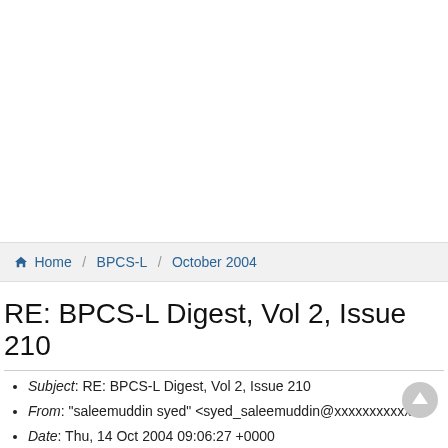Home / BPCS-L / October 2004
RE: BPCS-L Digest, Vol 2, Issue 210
Subject: RE: BPCS-L Digest, Vol 2, Issue 210
From: "saleemuddin syed" <syed_saleemuddin@xxxxxxxxxxx>
Date: Thu, 14 Oct 2004 09:06:27 +0000